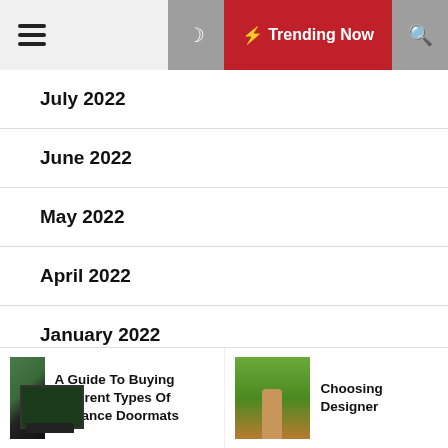☰ 🌙 ⚡ Trending Now 🔍
July 2022
June 2022
May 2022
April 2022
January 2022
September 2021
July 2021
A Guide To Buying Different Types Of Entrance Doormats
Choosing Designer